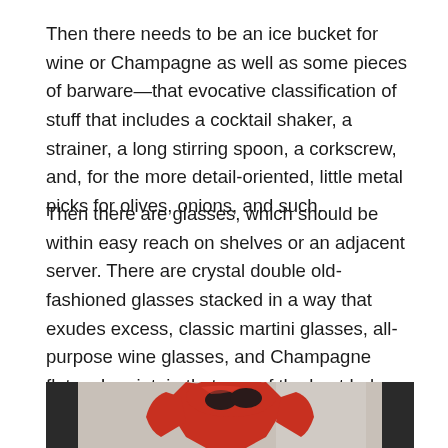Then there needs to be an ice bucket for wine or Champagne as well as some pieces of barware—that evocative classification of stuff that includes a cocktail shaker, a strainer, a long stirring spoon, a corkscrew, and, for the more detail-oriented, little metal picks for olives, onions, and such.
Then there are glasses, which should be within easy reach on shelves or an adjacent server. There are crystal double old-fashioned glasses stacked in a way that exudes excess, classic martini glasses, all-purpose wine glasses, and Champagne flutes. I maintain that one of the best helpers in overcoming reluctance to entertain is having lots of matching glasses, in a quantity that will take you from drinks à deux to an impromptu gathering for a dozen or so.
[Figure (photo): Partial photograph of a red robot or figurine with dark accents, cropped at bottom of page, partially visible between dark vertical bars on either side.]